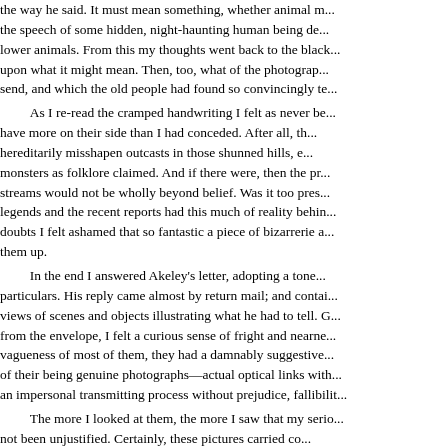the way he said it must mean something, whether animal n... the speech of some hidden, night-haunting human being de... lower animals. From this my thoughts went back to the black... upon what it might mean. Then, too, what of the photograp... send, and which the old people had found so convincingly te...

As I re-read the cramped handwriting I felt as ever be... have more on their side than I had conceded. After all, th... hereditarily misshapen outcasts in those shunned hills, e... monsters as folklore claimed. And if there were, then the pr... streams would not be wholly beyond belief. Was it too pres... legends and the recent reports had this much of reality behin... doubts I felt ashamed that so fantastic a piece of bizarrerie a... them up.

In the end I answered Akeley's letter, adopting a tone... particulars. His reply came almost by return mail; and contai... views of scenes and objects illustrating what he had to tell. G... from the envelope, I felt a curious sense of fright and nearne... vagueness of most of them, they had a damnably suggestive... of their being genuine photographs—actual optical links with... an impersonal transmitting process without prejudice, fallibilit...

The more I looked at them, the more I saw that my serio... not been unjustified. Certainly, these pictures carried co... Vermont hills which was at least vastly outside the radius of... worst thing of all was the footprint—a view taken where the s... a deserted upland. This was no cheaply counterfeited thing,... defined pebbles and grass-blades in the field of vision ga... possibility of a tricky double exposure. I have called the thing... better term. Even now I can scarcely describe it save to say... there seemed to be some ambiguity about its direction. It w... seemed to be about the size of an average man's foot. Fr... pinners projected in opposite directions — quite baffling st...